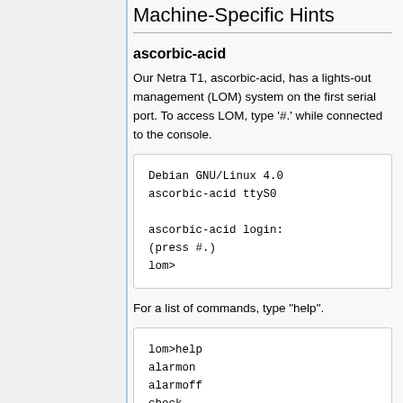Machine-Specific Hints
ascorbic-acid
Our Netra T1, ascorbic-acid, has a lights-out management (LOM) system on the first serial port. To access LOM, type '#.' while connected to the console.
Debian GNU/Linux 4.0
ascorbic-acid ttyS0

ascorbic-acid login:
(press #.)
lom>
For a list of commands, type "help".
lom>help
alarmon
alarmoff
check